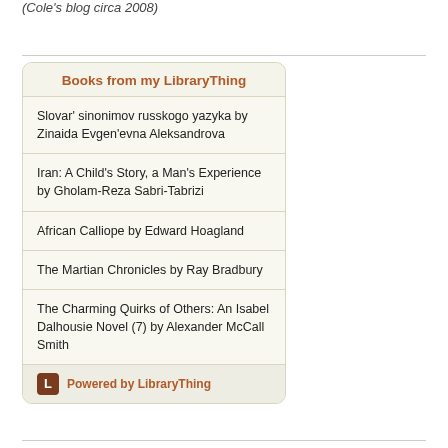(Cole's blog circa 2008)
Books from my LibraryThing
Slovar' sinonimov russkogo yazyka by Zinaida Evgen'evna Aleksandrova
Iran: A Child's Story, a Man's Experience by Gholam-Reza Sabri-Tabrizi
African Calliope by Edward Hoagland
The Martian Chronicles by Ray Bradbury
The Charming Quirks of Others: An Isabel Dalhousie Novel (7) by Alexander McCall Smith
Powered by LibraryThing